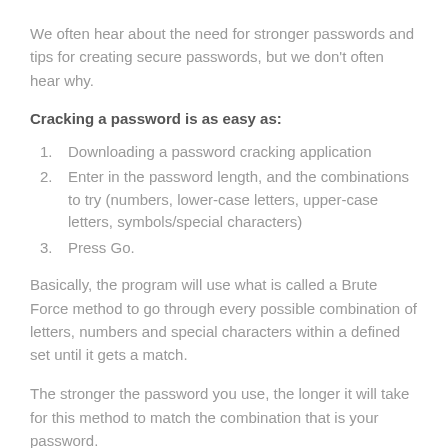We often hear about the need for stronger passwords and tips for creating secure passwords, but we don't often hear why.
Cracking a password is as easy as:
Downloading a password cracking application
Enter in the password length, and the combinations to try (numbers, lower-case letters, upper-case letters, symbols/special characters)
Press Go.
Basically, the program will use what is called a Brute Force method to go through every possible combination of letters, numbers and special characters within a defined set until it gets a match.
The stronger the password you use, the longer it will take for this method to match the combination that is your password.